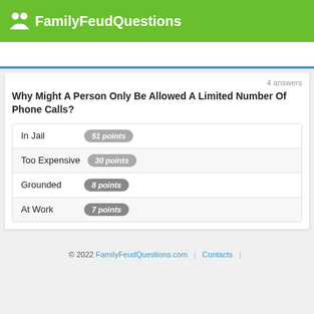FamilyFeudQuestions
4 answers
Why Might A Person Only Be Allowed A Limited Number Of Phone Calls?
In Jail  51 points
Too Expensive  30 points
Grounded  8 points
At Work  7 points
© 2022 FamilyFeudQuestions.com  |  Contacts  |